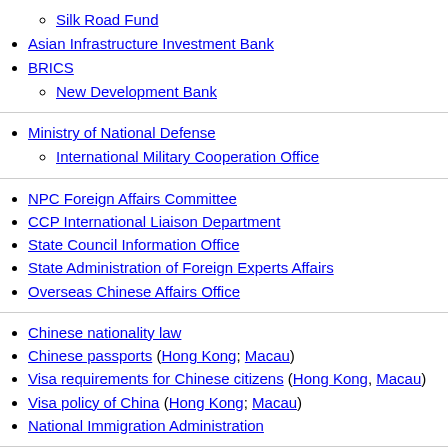Silk Road Fund
Asian Infrastructure Investment Bank
BRICS
New Development Bank
Ministry of National Defense
International Military Cooperation Office
NPC Foreign Affairs Committee
CCP International Liaison Department
State Council Information Office
State Administration of Foreign Experts Affairs
Overseas Chinese Affairs Office
Chinese nationality law
Chinese passports (Hong Kong; Macau)
Visa requirements for Chinese citizens (Hong Kong, Macau)
Visa policy of China (Hong Kong; Macau)
National Immigration Administration
Five Principles of Peaceful Coexistence